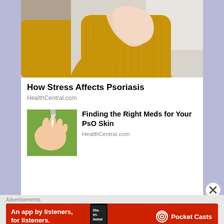[Figure (photo): Woman in yellow knit sweater scratching her arm/elbow, sitting on a gray sofa with yellow pillow in background]
How Stress Affects Psoriasis
HealthCentral.com
[Figure (photo): Close-up of a hand with cream/medication being applied to fingers, green background]
Finding the Right Meds for Your PsO Skin
HealthCentral.com
Advertisements
[Figure (screenshot): Pocket Casts red banner ad: An app by listeners, for listeners. Shows Pocket Casts logo and phone with Distributed text.]